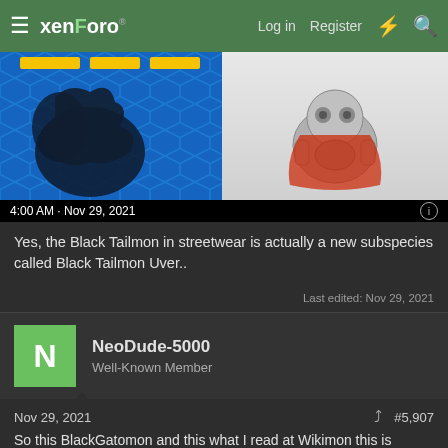xenForo | Log in | Register
[Figure (screenshot): Screenshot showing two game images side-by-side: left is a blue hexagonal background with a dark creature silhouette, right is a gray/white background with a robot-like creature. Timestamp reads 4:00 AM · Nov 29, 2021]
Yes, the Black Tailmon in streetwear is actually a new subspecies called Black Tailmon Uver..
Last edited: Nov 29, 2021
NeoDude-5000
Well-Known Member
Nov 29, 2021
#5,907
So this BlackGatomon and this what I read at Wikimon this is basically a delivery boy, err cat, variant. And good a ng people from crazy Sistermon
UPDATE